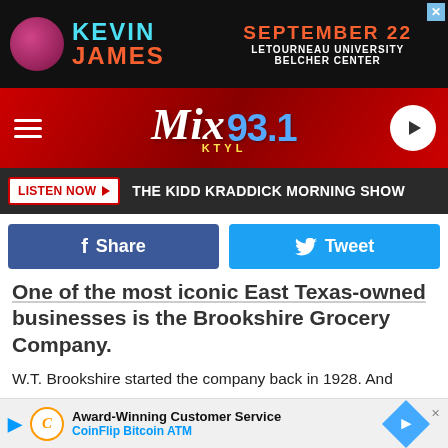[Figure (screenshot): Kevin James advertisement banner for September 22 at LeTourneau University Belcher Center]
[Figure (logo): Mix 93.1 KTYL radio station header with hamburger menu and play button]
LISTEN NOW THE KIDD KRADDICK MORNING SHOW
[Figure (screenshot): Facebook Share and Twitter Tweet social sharing buttons]
One of the most iconic East Texas-owned businesses is the Brookshire Grocery Company.
W.T. Brookshire started the company back in 1928. And today, they operate more than 180 stores in Texas, Arkansas, and Louisiana.
They come such a long way these days and now operate four "banners" under the Brookshire's umbrella: Brookshire's, Spring
[Figure (screenshot): CoinFlip Bitcoin ATM advertisement - Award-Winning Customer Service]